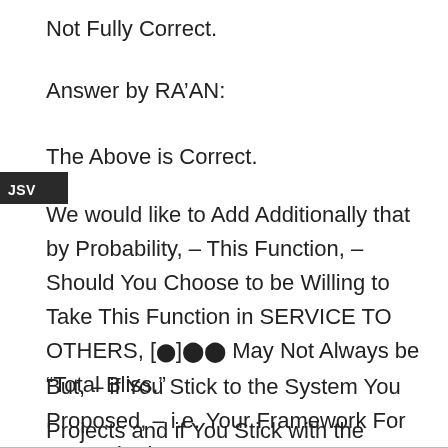Not Fully Correct.
Answer by RA’AN:
The Above is Correct.
JSV
We would like to Add Additionally that by Probability, – This Function, – Should You Choose to be Willing to Take This Function in SERVICE TO OTHERS, [⬤]⬤⬤ May Not Always be “Total Bliss.”
But, – if You Stick to the System You Proposed, – i.e. Your Framework For Humanitarian
Projects and if You Stick with the Principles of